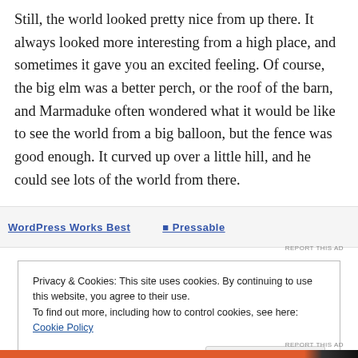Still, the world looked pretty nice from up there. It always looked more interesting from a high place, and sometimes it gave you an excited feeling. Of course, the big elm was a better perch, or the roof of the barn, and Marmaduke often wondered what it would be like to see the world from a big balloon, but the fence was good enough. It curved up over a little hill, and he could see lots of the world from there.
[Figure (screenshot): Partial advertisement banner showing 'WordPress Works Best' and 'Pressable' text with blue underlined links]
REPORT THIS AD
Privacy & Cookies: This site uses cookies. By continuing to use this website, you agree to their use.
To find out more, including how to control cookies, see here: Cookie Policy
Close and accept